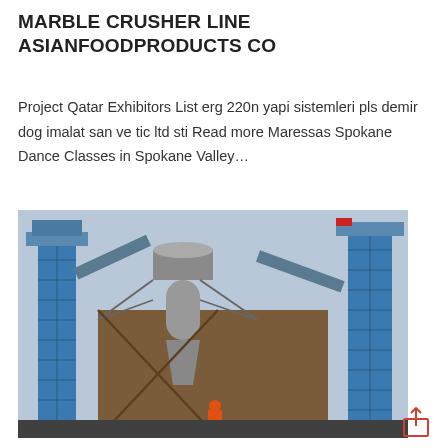MARBLE CRUSHER LINE ASIANFOODPRODUCTS CO
Project Qatar Exhibitors List erg 220n yapi sistemleri pls demir dog imalat san ve tic ltd sti Read more Maressas Spokane Dance Classes in Spokane Valley…
[Figure (photo): Industrial marble crusher line facility showing tall blue vertical conveyor towers and a central cylindrical dust collector unit with a hopper, connected to large brown metal building structures. Heavy industrial equipment photographed from ground level against a hazy sky.]
[Figure (other): Share/export icon button in coral/orange color — a box with an upward arrow]